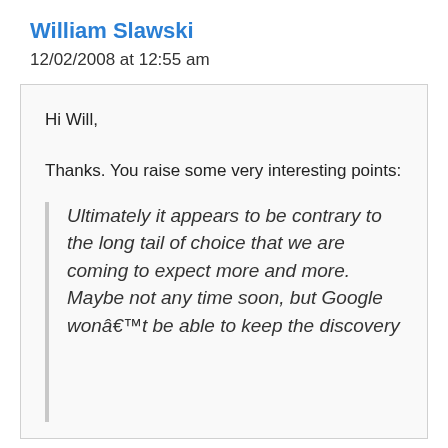William Slawski
12/02/2008 at 12:55 am
Hi Will,

Thanks. You raise some very interesting points:
Ultimately it appears to be contrary to the long tail of choice that we are coming to expect more and more. Maybe not any time soon, but Google wonât be able to keep the discovery...